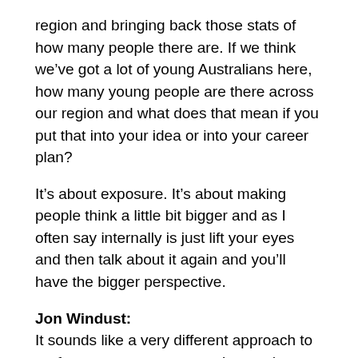region and bringing back those stats of how many people there are. If we think we've got a lot of young Australians here, how many young people are there across our region and what does that mean if you put that into your idea or into your career plan?
It's about exposure. It's about making people think a little bit bigger and as I often say internally is just lift your eyes and then talk about it again and you'll have the bigger perspective.
Jon Windust: It sounds like a very different approach to performance management. It sounds much more in line with something I very much believe in which is agile performance management, a much more sort of forward looking development focused approach.